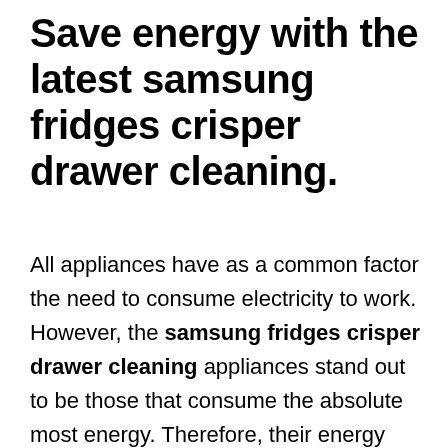Save energy with the latest samsung fridges crisper drawer cleaning.
All appliances have as a common factor the need to consume electricity to work. However, the samsung fridges crisper drawer cleaning appliances stand out to be those that consume the absolute most energy. Therefore, their energy savings is vital to make sure savings into the electricity bill. Although almost all of the equipment on the market has high levels of efficiency, there are still some with obsolete systems.